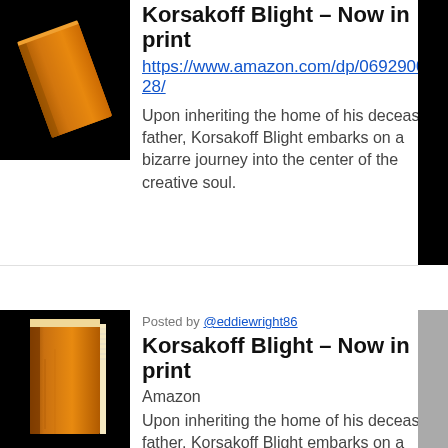[Figure (illustration): Orange book cover at an angle on black background, top card thumbnail]
Korsakoff Blight – Now in print
https://www.amazon.com/dp/0692900128/
Upon inheriting the home of his deceased father, Korsakoff Blight embarks on a bizarre journey into the center of the creative soul.
Posted by @eddiewright86
[Figure (illustration): Orange upright book cover on black background, bottom card thumbnail]
Korsakoff Blight – Now in print
Amazon
Upon inheriting the home of his deceased father, Korsakoff Blight embarks on a bizarre journey into the center of the creative soul.